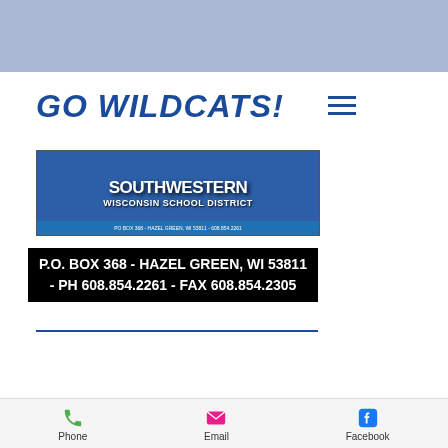GO WILDCATS!
[Figure (photo): Southwestern Wisconsin School District school banner with students and mascot photos]
P.O. BOX 368 - HAZEL GREEN, WI 53811 - PH 608.854.2261 - FAX 608.854.2305
Phone   Email   Facebook